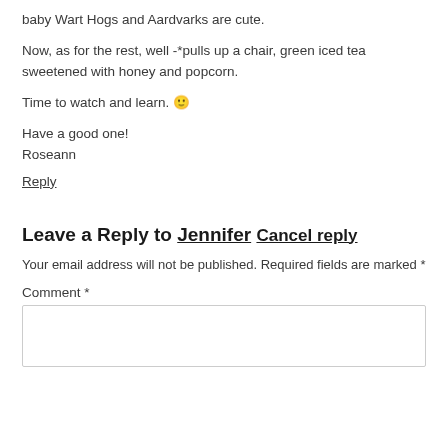baby Wart Hogs and Aardvarks are cute.
Now, as for the rest, well -*pulls up a chair, green iced tea sweetened with honey and popcorn.
Time to watch and learn. 😊
Have a good one!
Roseann
Reply
Leave a Reply to Jennifer Cancel reply
Your email address will not be published. Required fields are marked *
Comment *